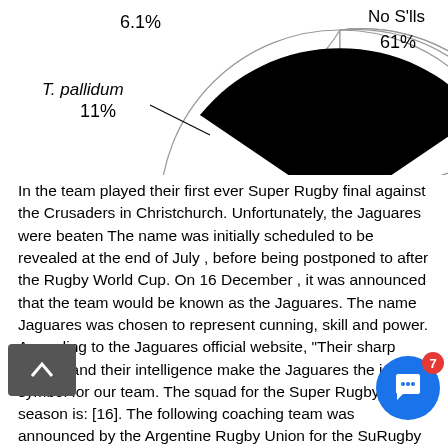[Figure (pie-chart): Partial pie chart]
In the team played their first ever Super Rugby final against the Crusaders in Christchurch. Unfortunately, the Jaguares were beaten The name was initially scheduled to be revealed at the end of July , before being postponed to after the Rugby World Cup. On 16 December , it was announced that the team would be known as the Jaguares. The name Jaguares was chosen to represent cunning, skill and power.
According to the Jaguares official website, "Their sharp instinct and their intelligence make the Jaguares the ideal symbol for our team. The squad for the Super Rugby season is: [16]. The following coaching team was announced by the Argentine Rugby Union for the Su Rugby season :. From Wikipedia, the free encyclopedia Retrieved 8 November Retrieved 17 April Retrieved 19